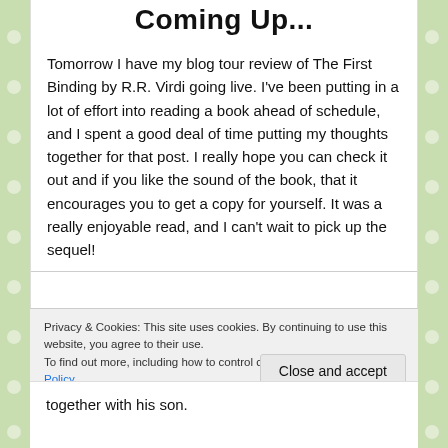Coming Up...
Tomorrow I have my blog tour review of The First Binding by R.R. Virdi going live. I've been putting in a lot of effort into reading a book ahead of schedule, and I spent a good deal of time putting my thoughts together for that post. I really hope you can check it out and if you like the sound of the book, that it encourages you to get a copy for yourself. It was a really enjoyable read, and I can't wait to pick up the sequel!
Privacy & Cookies: This site uses cookies. By continuing to use this website, you agree to their use.
To find out more, including how to control cookies, see here: Cookie Policy
Close and accept
together with his son.